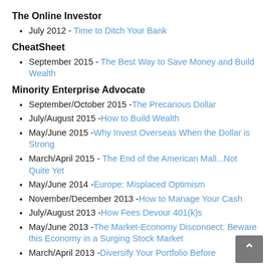The Online Investor
July 2012 - Time to Ditch Your Bank
CheatSheet
September 2015 - The Best Way to Save Money and Build Wealth
Minority Enterprise Advocate
September/October 2015 -The Precarious Dollar
July/August 2015 -How to Build Wealth
May/June 2015 -Why Invest Overseas When the Dollar is Strong
March/April 2015 - The End of the American Mall...Not Quite Yet
May/June 2014 -Europe: Misplaced Optimism
November/December 2013 -How to Manage Your Cash
July/August 2013 -How Fees Devour 401(k)s
May/June 2013 -The Market-Economy Disconnect: Beware this Economy in a Surging Stock Market
March/April 2013 -Diversify Your Portfolio Before